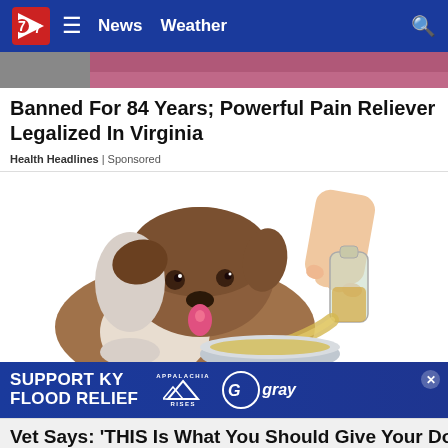7News | News  Weather
[Figure (photo): Partial top image strip showing dark red/pink clothing or background]
Banned For 84 Years; Powerful Pain Reliever Legalized In Virginia
Health Headlines | Sponsored
[Figure (illustration): Illustration of a fluffy brown and white dog looking at a hand pouring liquid from a glass bottle into a metal bowl]
[Figure (infographic): Advertisement banner: SUPPORT KY FLOOD RELIEF with Appalachia Rises logo and gray media logo]
Vet Says: 'THIS Is What You Should Give Your Dog This'